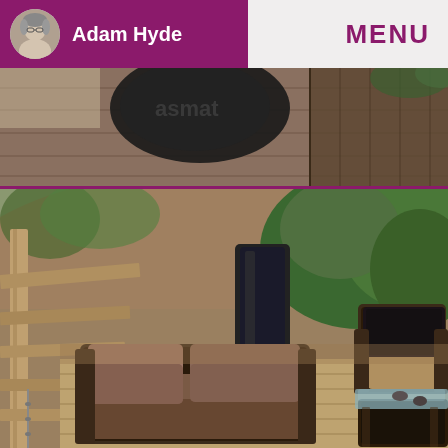Adam Hyde  MENU
[Figure (photo): Top banner photo showing outdoor scene with partial text 'asmat' visible on dark fabric, wooden boards in background]
[Figure (photo): Outdoor patio furniture scene on wooden deck: dark brown wicker sofa with mauve/brown cushions, matching armchair with dark cushions, glass-top wicker coffee table with decorative stones, covered patio heater in background, surrounded by trees and natural hillside]